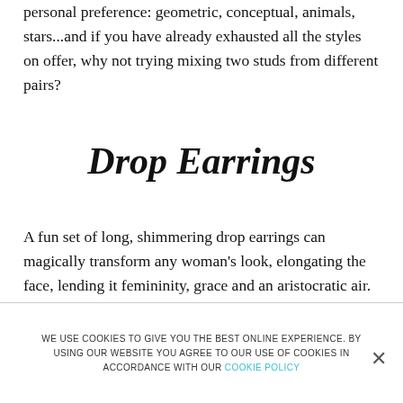personal preference: geometric, conceptual, animals, stars...and if you have already exhausted all the styles on offer, why not trying mixing two studs from different pairs?
Drop Earrings
A fun set of long, shimmering drop earrings can magically transform any woman's look, elongating the face, lending it femininity, grace and an aristocratic air. Earrings of this type can be long, short, slender or chunky – the main thing is to be sure to pick out the
WE USE COOKIES TO GIVE YOU THE BEST ONLINE EXPERIENCE. BY USING OUR WEBSITE YOU AGREE TO OUR USE OF COOKIES IN ACCORDANCE WITH OUR COOKIE POLICY